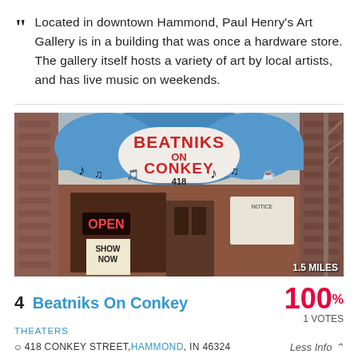Located in downtown Hammond, Paul Henry's Art Gallery is in a building that was once a hardware store. The gallery itself hosts a variety of art by local artists, and has live music on weekends.
[Figure (photo): Exterior photo of Beatniks On Conkey storefront with blue awning and 'BEATNIKS ON CONKEY 418' sign, showing OPEN neon sign and 'SHOW NOW' sandwich board. Badge reads '1.5 MILES'.]
4 Beatniks On Conkey  100% 1 VOTES
THEATERS
418 CONKEY STREET, HAMMOND, IN 46324  Less Info
Located in Hammond's Hyde Park neighborhood,